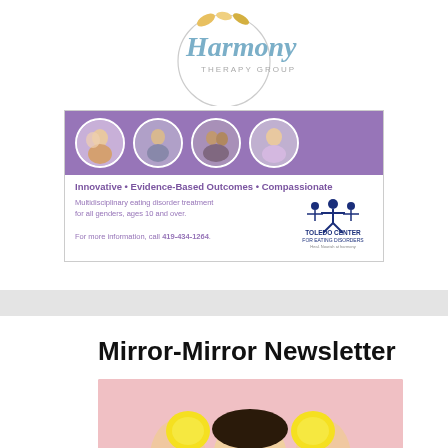[Figure (logo): Harmony Therapy Group logo with cursive text and circular design]
[Figure (infographic): Toledo Center for Eating Disorders advertisement banner. Purple top with 4 circular photos of people. Text reads: Innovative • Evidence-Based Outcomes • Compassionate. Multidisciplinary eating disorder treatment for all genders, ages 10 and over. For more information, call 419-434-1264. Toledo Center for Eating Disorders logo on right.]
Mirror-Mirror Newsletter
[Figure (photo): Photo of a person holding lemon slices over their eyes, against a pink background, partially cropped]